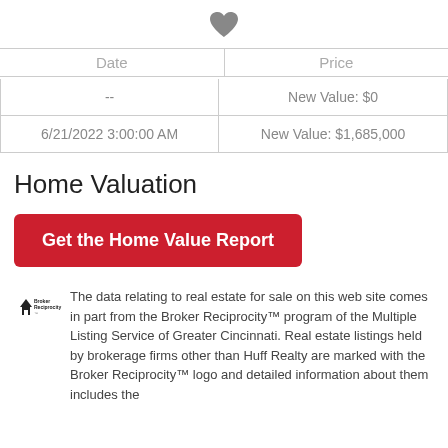[Figure (illustration): Heart icon centered at top]
| Date | Price |
| --- | --- |
| -- | New Value: $0 |
| 6/21/2022 3:00:00 AM | New Value: $1,685,000 |
Home Valuation
Get the Home Value Report
The data relating to real estate for sale on this web site comes in part from the Broker Reciprocity™ program of the Multiple Listing Service of Greater Cincinnati. Real estate listings held by brokerage firms other than Huff Realty are marked with the Broker Reciprocity™ logo and detailed information about them includes the